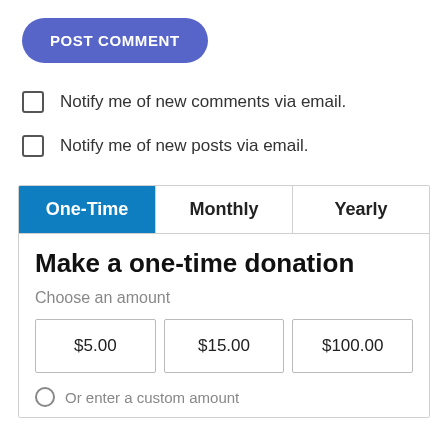[Figure (screenshot): Blue rounded POST COMMENT button]
Notify me of new comments via email.
Notify me of new posts via email.
| One-Time | Monthly | Yearly |
| --- | --- | --- |
Make a one-time donation
Choose an amount
$5.00   $15.00   $100.00
Or enter a custom amount